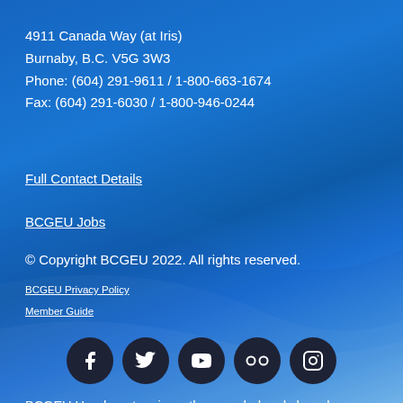4911 Canada Way (at Iris)
Burnaby, B.C. V5G 3W3
Phone: (604) 291-9611 / 1-800-663-1674
Fax: (604) 291-6030 / 1-800-946-0244
Full Contact Details
BCGEU Jobs
© Copyright BCGEU 2022. All rights reserved.
BCGEU Privacy Policy
Member Guide
[Figure (infographic): Five social media icons (Facebook, Twitter, YouTube, Flickr, Instagram) in dark circular buttons]
BCGEU Headquarters is on the unceded and shared traditional territory of the xʷməθkʷəy̓əm (Musqueam), Skxwú7mesh (Squamish) & Səl̓ílwətaʔ (Tsleil-Waututh) peoples.